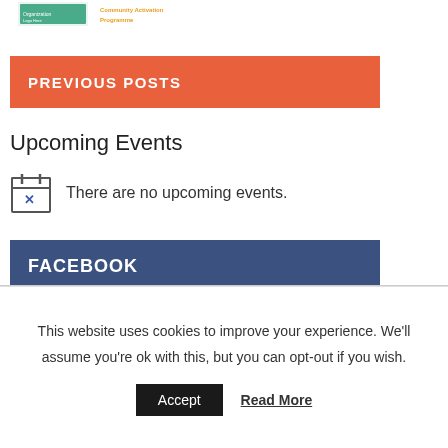[Figure (logo): Two logos at top of page: a green/teal organization logo on the left and a text-based Community Activation Programme logo on the right]
PREVIOUS POSTS
Upcoming Events
There are no upcoming events.
FACEBOOK
This website uses cookies to improve your experience. We'll assume you're ok with this, but you can opt-out if you wish.
Accept
Read More